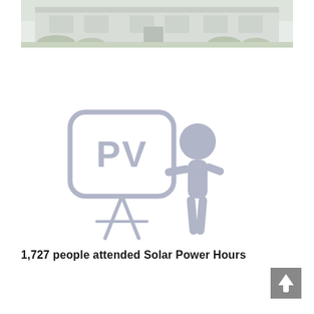[Figure (photo): A house exterior photograph, grayscale/light, showing a residential building with white siding and green shrubs in front]
[Figure (illustration): A light gray illustration of a stick figure person holding a pointer next to a presentation board displaying the letters 'PV', representing a Solar Power Hours presentation]
1,727 people attended Solar Power Hours
[Figure (other): Back to top arrow button, gray square with upward arrow icon]